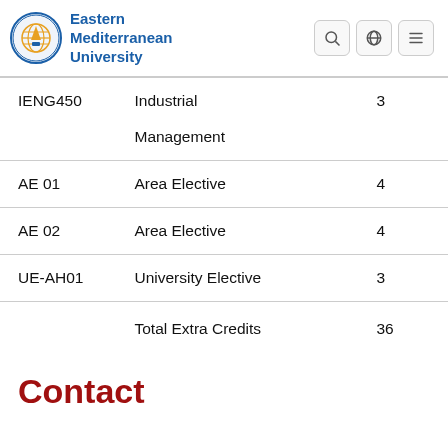Eastern Mediterranean University
| Code | Name | Credits |
| --- | --- | --- |
| IENG450 | Industrial Management | 3 |
| AE 01 | Area Elective | 4 |
| AE 02 | Area Elective | 4 |
| UE-AH01 | University Elective | 3 |
|  | Total Extra Credits | 36 |
Contact